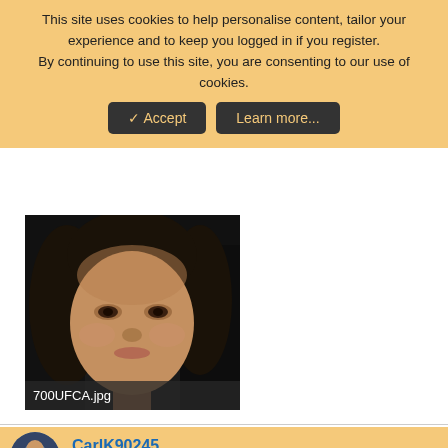This site uses cookies to help personalise content, tailor your experience and to keep you logged in if you register.
By continuing to use this site, you are consenting to our use of cookies.
✓ Accept | Learn more...
[Figure (photo): Blurred close-up portrait photo of a woman against a dark background, with filename label '700UFCA.jpg' at the bottom]
CarlK90245
UID Moderator | Staff member | Moderator